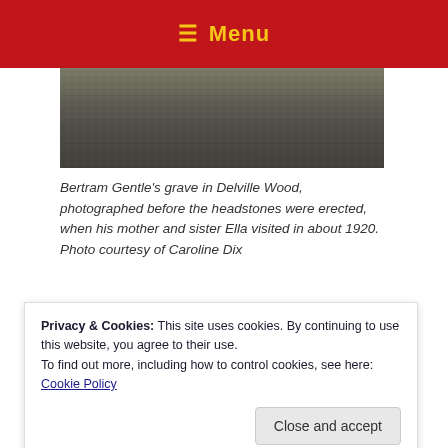☰ Menu
[Figure (photo): Partial view of Bertram Gentle's grave in Delville Wood, black and white photo showing stone/ground, cropped at top]
Bertram Gentle's grave in Delville Wood, photographed before the headstones were erected, when his mother and sister Ella visited in about 1920. Photo courtesy of Caroline Dix
[Figure (photo): Color photo of Delville Wood showing large green trees against a blue sky with clouds, and a light-colored ground area at bottom]
Privacy & Cookies: This site uses cookies. By continuing to use this website, you agree to their use.
To find out more, including how to control cookies, see here: Cookie Policy
[Figure (photo): Bottom strip of another photo showing grass and a monument or stone in a cemetery setting]